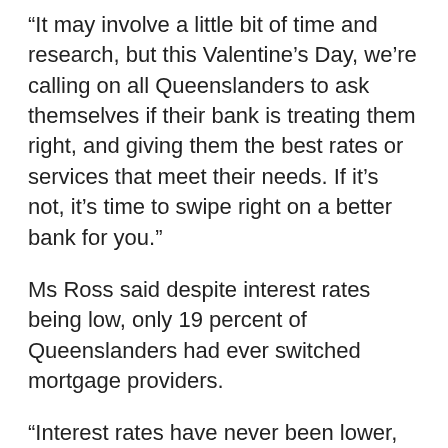“It may involve a little bit of time and research, but this Valentine’s Day, we’re calling on all Queenslanders to ask themselves if their bank is treating them right, and giving them the best rates or services that meet their needs. If it’s not, it’s time to swipe right on a better bank for you.”
Ms Ross said despite interest rates being low, only 19 percent of Queenslanders had ever switched mortgage providers.
“Interest rates have never been lower, so it’s a great time to review your loan and see if you can get a better deal,” she said.
“Remember, when you’re assessing the best mortgage option for you, look at the comparison rate